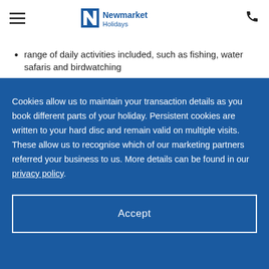Newmarket Holidays
range of daily activities included, such as fishing, water safaris and birdwatching
Guided tour of the awe-inspiring Victoria
Cookies allow us to maintain your transaction details as you book different parts of your holiday. Persistent cookies are written to your hard disc and remain valid on multiple visits. These allow us to recognise which of our marketing partners referred your business to us. More details can be found in our privacy policy.
Accept